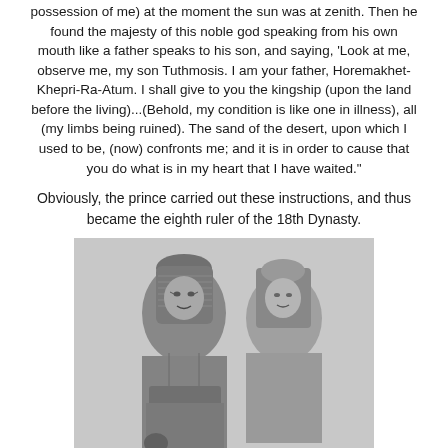possession of me) at the moment the sun was at zenith. Then he found the majesty of this noble god speaking from his own mouth like a father speaks to his son, and saying, 'Look at me, observe me, my son Tuthmosis. I am your father, Horemakhet-Khepri-Ra-Atum. I shall give to you the kingship (upon the land before the living)...(Behold, my condition is like one in illness), all (my limbs being ruined). The sand of the desert, upon which I used to be, (now) confronts me; and it is in order to cause that you do what is in my heart that I have waited."
Obviously, the prince carried out these instructions, and thus became the eighth ruler of the 18th Dynasty.
[Figure (photo): Black and white photograph of two ancient Egyptian stone statues seated side by side. The left figure wears a nemes headdress and is bare-chested with a belt/kilt. The right figure also wears a headdress. Both are carved in a formal frontal pose typical of ancient Egyptian art.]